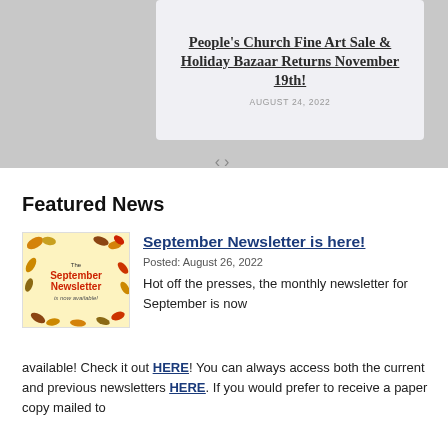[Figure (screenshot): Gray banner area with a white card showing 'People's Church Fine Art Sale & Holiday Bazaar Returns November 19th!' and date 'AUGUST 24, 2022'. Navigation arrows below.]
Featured News
[Figure (illustration): Thumbnail image for September Newsletter with autumn leaf decorations and text 'The September Newsletter is now available!']
September Newsletter is here!
Posted: August 26, 2022
Hot off the presses, the monthly newsletter for September is now available! Check it out HERE! You can always access both the current and previous newsletters HERE. If you would prefer to receive a paper copy mailed to